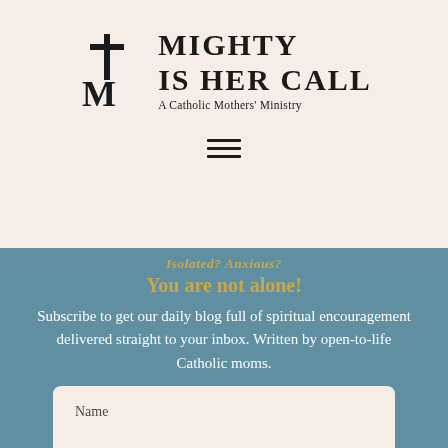[Figure (logo): Mighty Is Her Call logo — a cross and stylized M symbol with text 'MIGHTY IS HER CALL' and subtitle 'A Catholic Mothers' Ministry']
[Figure (other): Hamburger menu icon — three horizontal lines]
Isolated? Anxious?
You are not alone!
Subscribe to get our daily blog full of spiritual encouragement delivered straight to your inbox. Written by open-to-life Catholic moms.
Name